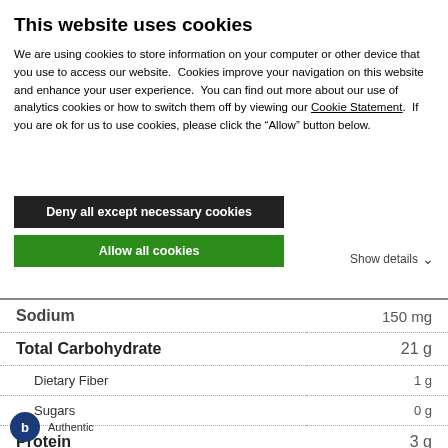This website uses cookies
We are using cookies to store information on your computer or other device that you use to access our website. Cookies improve your navigation on this website and enhance your user experience. You can find out more about our use of analytics cookies or how to switch them off by viewing our Cookie Statement. If you are ok for us to use cookies, please click the “Allow” button below.
Deny all except necessary cookies
Allow all cookies
Show details
| Nutrient | Amount |
| --- | --- |
| Sodium | 150 mg |
| Total Carbohydrate | 21 g |
| Dietary Fiber | 1 g |
| Sugars | 0 g |
| Protein | 3 g |